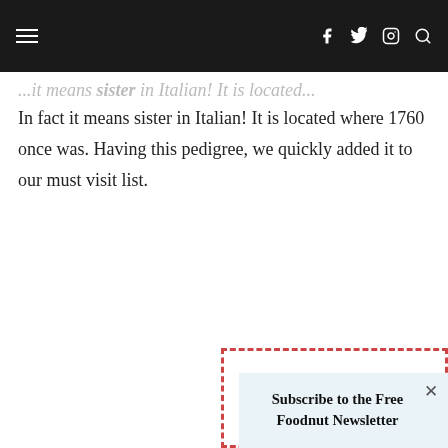Navigation bar with hamburger menu and social icons (f, twitter, instagram, search)
In fact it means sister in Italian! It is located where 1760 once was. Having this pedigree, we quickly added it to our must visit list.
Subscribe to the Free Foodnut Newsletter
Email address:
Your email address
SIGN UP
By using our ... of Use.